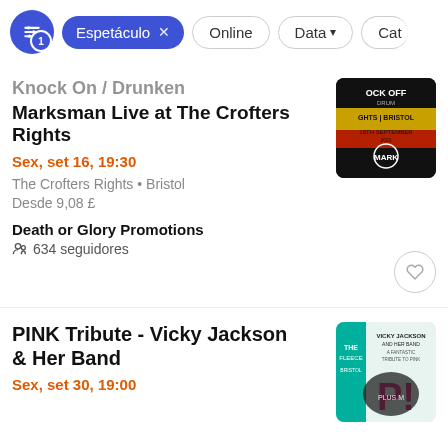Espetáculo × | Online | Data ↓ | Cat
Knock On / Drunken Marksman Live at The Crofters Rights
Sex, set 16, 19:30
The Crofters Rights • Bristol
Desde 9,08 £
Death or Glory Promotions
634 seguidores
PINK Tribute - Vicky Jackson & Her Band
Sex, set 30, 19:00